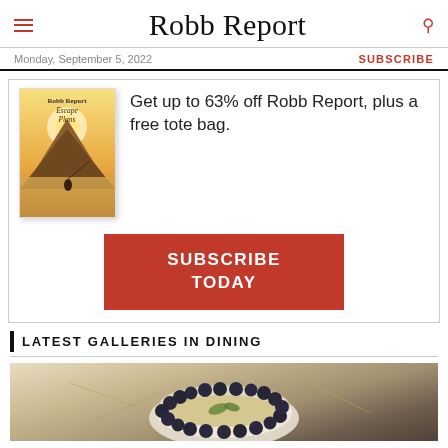Robb Report
Monday, September 5, 2022
SUBSCRIBE
[Figure (illustration): Robb Report magazine cover with 'Escape Plans' text and illustration of a person fly-fishing in a scenic mountain lake setting]
Get up to 63% off Robb Report, plus a free tote bag.
SUBSCRIBE TODAY
LATEST GALLERIES IN DINING
[Figure (photo): Food photography showing a decorative bowl with grain dish garnished with dark berries/olives arranged around the rim, on a light background with scattered herbs or leaves]